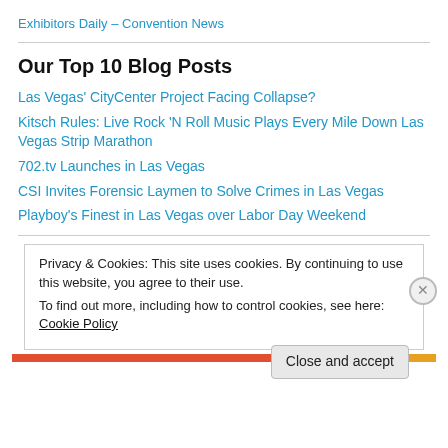Exhibitors Daily – Convention News
Our Top 10 Blog Posts
Las Vegas' CityCenter Project Facing Collapse?
Kitsch Rules: Live Rock 'N Roll Music Plays Every Mile Down Las Vegas Strip Marathon
702.tv Launches in Las Vegas
CSI Invites Forensic Laymen to Solve Crimes in Las Vegas
Playboy's Finest in Las Vegas over Labor Day Weekend
Privacy & Cookies: This site uses cookies. By continuing to use this website, you agree to their use. To find out more, including how to control cookies, see here: Cookie Policy